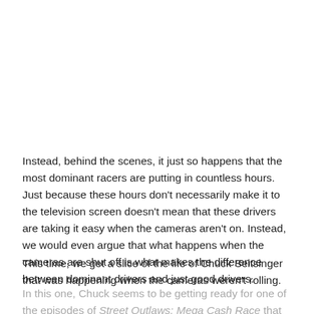Instead, behind the scenes, it just so happens that the most dominant racers are putting in countless hours. Just because these hours don't necessarily make it to the television screen doesn't mean that these drivers are taking it easy when the cameras aren't on. Instead, we would even argue that what happens when the cameras are shut off is what makes the difference between dominant drivers and just good drivers.
This time, we get a slice of the life of Chuck Seitsinger that was happening when the cameras weren't rolling. In this one, Chuck seems to be getting ready for one of the episodes of Street Outlaws: Mega Cash Race that have been airing over the last few months. All...